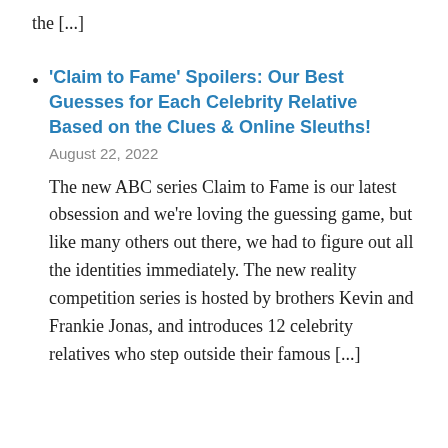the [...]
'Claim to Fame' Spoilers: Our Best Guesses for Each Celebrity Relative Based on the Clues & Online Sleuths!
August 22, 2022
The new ABC series Claim to Fame is our latest obsession and we're loving the guessing game, but like many others out there, we had to figure out all the identities immediately. The new reality competition series is hosted by brothers Kevin and Frankie Jonas, and introduces 12 celebrity relatives who step outside their famous [...]